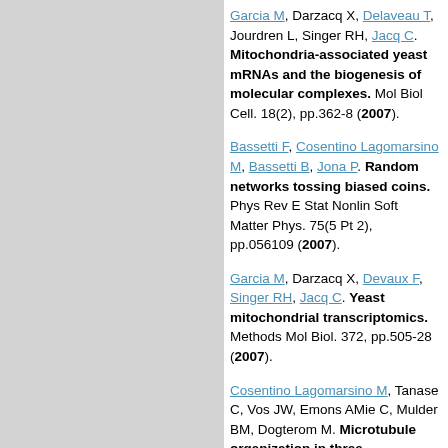Garcia M, Darzacq X, Delaveau T, Jourdren L, Singer RH, Jacq C. Mitochondria-associated yeast mRNAs and the biogenesis of molecular complexes. Mol Biol Cell. 18(2), pp.362-8 (2007).
Bassetti F, Cosentino Lagomarsino M, Bassetti B, Jona P. Random networks tossing biased coins. Phys Rev E Stat Nonlin Soft Matter Phys. 75(5 Pt 2), pp.056109 (2007).
Garcia M, Darzacq X, Devaux F, Singer RH, Jacq C. Yeast mitochondrial transcriptomics. Methods Mol Biol. 372, pp.505-28 (2007).
Cosentino Lagomarsino M, Tanase C, Vos JW, Emons AMie C, Mulder BM, Dogterom M. Microtubule organization in three-dimensional confined geometries: evaluating the role of elasticity through a combined in vitro and modeling approach. Biophys J. 92(3), pp.1046-57 (2007).
IM Rouzine, Sergeev RA,